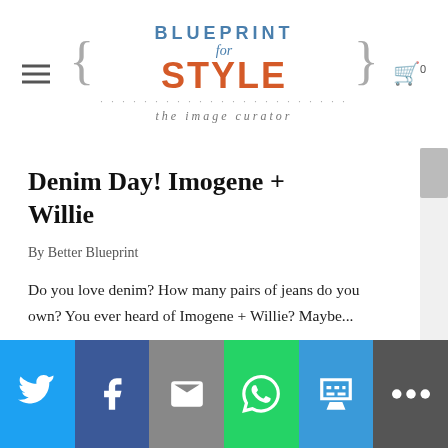[Figure (logo): Blueprint for Style logo with curly brackets, blue and orange text, subtitle 'the image curator']
Denim Day! Imogene + Willie
By Better Blueprint
Do you love denim? How many pairs of jeans do you own? You ever heard of Imogene + Willie? Maybe...